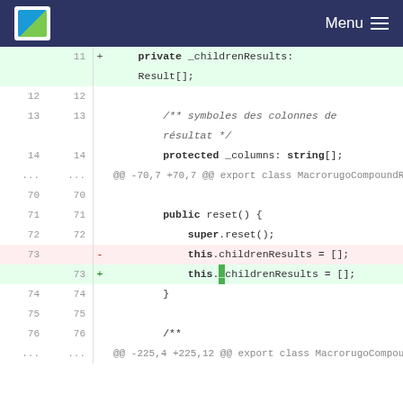Menu
[Figure (screenshot): Code diff view showing TypeScript class changes. Lines 11-14 show private _childrenResults: Result[] and protected _columns: string[]. Lines 70-76 show public reset() method with super.reset() call. Line 73 shows removed 'this.childrenResults = []' and added 'this._childrenResults = []'. Context lines and diff markers visible.]